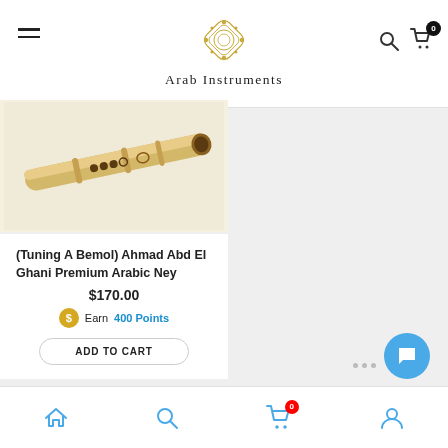Arab Instruments
[Figure (photo): A bamboo ney (Arabic flute) photographed diagonally on a light background, showing finger holes and carved details.]
(Tuning A Bemol) Ahmad Abd El Ghani Premium Arabic Ney
$170.00
Earn 400 Points
ADD TO CART
Home | Search | Cart (0) | Account